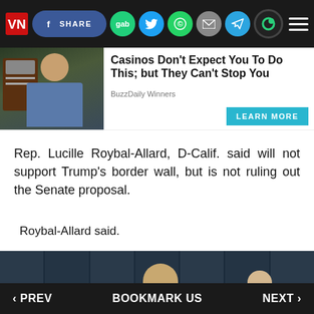SHARE | gab | (twitter) | (whatsapp) | (email) | (telegram) | (hamburger menu)
[Figure (screenshot): Ad banner: man at slot machine, headline 'Casinos Don't Expect You To Do This; but They Can't Stop You', source: BuzzDaily Winners, LEARN MORE button]
Rep. Lucille Roybal-Allard, D-Calif. said will not support Trump's border wall, but is not ruling out the Senate proposal.
Roybal-Allard said.
[Figure (photo): Press photo of two figures (one resembling Donald Trump) standing in front of dark draped curtains. © press credit shown.]
‹ PREV    BOOKMARK US    NEXT ›